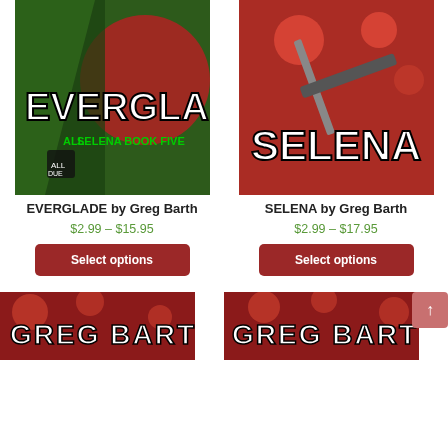[Figure (illustration): Book cover for EVERGLADE - Selena Book Five by Greg Barth, green camouflage background with large white bold text]
EVERGLADE by Greg Barth
$2.99 – $15.95
Select options
[Figure (illustration): Book cover for SELENA by Greg Barth, red background with woman holding a rifle, blood splatter]
SELENA by Greg Barth
$2.99 – $17.95
Select options
[Figure (illustration): Bottom partial book cover showing GREG BARTH text on red background]
[Figure (illustration): Bottom partial book cover showing GREG BARTH text on red background]